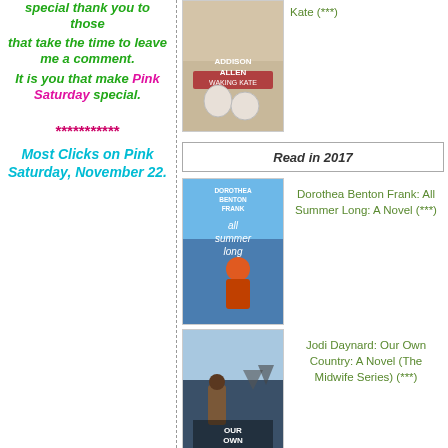special thank you to those that take the time to leave me a comment. It is you that make Pink Saturday special.
***********
Most Clicks on Pink Saturday, November 22.
[Figure (photo): Book cover: Addison Allen - Waking Kate]
Kate (***)
Read in 2017
[Figure (photo): Book cover: Dorothea Benton Frank - All Summer Long]
Dorothea Benton Frank: All Summer Long: A Novel (***)
[Figure (photo): Book cover: Jodi Daynard - Our Own Country]
Jodi Daynard: Our Own Country: A Novel (The Midwife Series) (***)